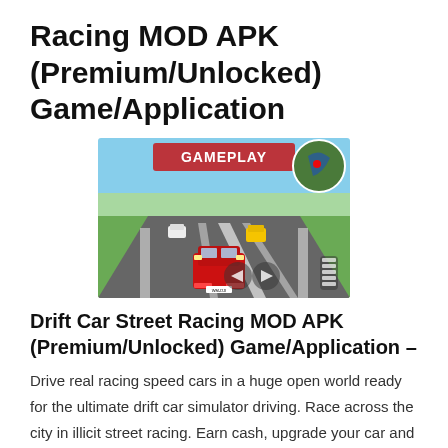Racing MOD APK (Premium/Unlocked) Game/Application
[Figure (screenshot): Gameplay screenshot of Drift Car Street Racing showing a red car driving on a highway with other cars, a minimap in the top right corner, and 'GAMEPLAY' text overlay.]
Drift Car Street Racing MOD APK (Premium/Unlocked) Game/Application –
Drive real racing speed cars in a huge open world ready for the ultimate drift car simulator driving. Race across the city in illicit street racing. Earn cash, upgrade your car and complete a tons of missions to become the best driver in the city.